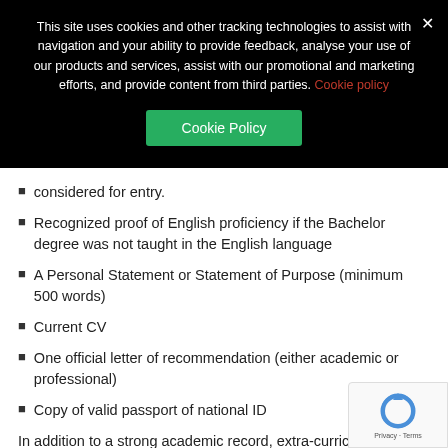This site uses cookies and other tracking technologies to assist with navigation and your ability to provide feedback, analyse your use of our products and services, assist with our promotional and marketing efforts, and provide content from third parties. Cookie policy
Cookie Policy
considered for entry.
Recognized proof of English proficiency if the Bachelor degree was not taught in the English language
A Personal Statement or Statement of Purpose (minimum 500 words)
Current CV
One official letter of recommendation (either academic or professional)
Copy of valid passport of national ID
In addition to a strong academic record, extra-curricular ac... leadership skills and other relevant background informatio...